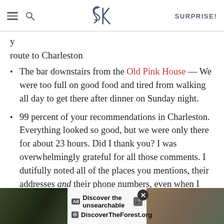SK | SURPRISE!
y route to Charleston
The bar downstairs from the Old Pink House — We were too full on good food and tired from walking all day to get there after dinner on Sunday night.
99 percent of your recommendations in Charleston. Everything looked so good, but we were only there for about 23 hours. Did I thank you? I was overwhelmingly grateful for all those comments. I dutifully noted all of the places you mentions, their addresses and their phone numbers, even when I knew full well we'd have time for two things only.
[Figure (screenshot): Advertisement banner: Discover the unsearchable — DiscoverTheForest.org, with forest background photos]